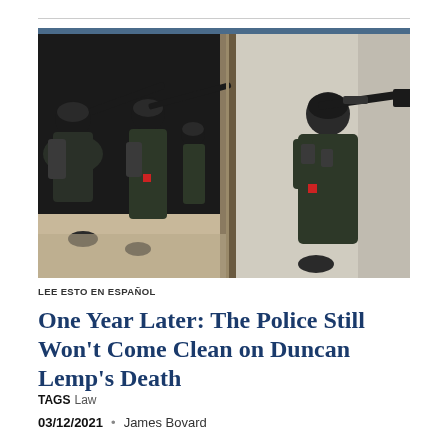[Figure (photo): SWAT team officers in tactical gear and helmets breaching a doorway, armed with rifles, practicing or conducting a raid. Two officers visible on the left side crouching and aiming, one officer in the center background, and a large officer in full tactical gear on the right aiming a rifle.]
LEE ESTO EN ESPAÑOL
One Year Later: The Police Still Won't Come Clean on Duncan Lemp's Death
TAGS Law
03/12/2021 • James Bovard